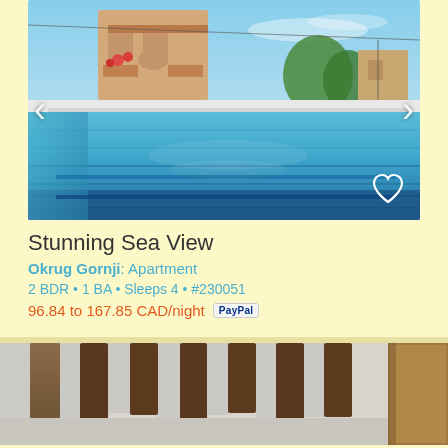[Figure (photo): Outdoor infinity swimming pool with blue mosaic tiles, buildings and trees visible in background under blue sky. Navigation arrows on left and right sides, heart/favorite icon in bottom right corner.]
Stunning Sea View
Okrug Gornji: Apartment
2 BDR • 1 BA • Sleeps 4 • #230051
96.84 to 167.85 CAD/night [PayPal]
[Figure (photo): Interior view showing wooden beam ceiling and white plastered walls, partial view of a doorway or window frame on the right.]